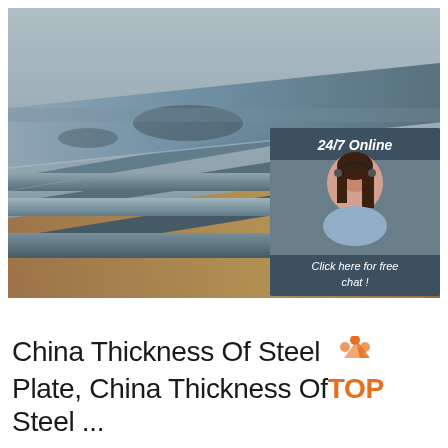[Figure (photo): Stack of steel plates piled on top of each other on a warehouse floor, showing multiple thick flat steel sheets with metallic grey/blue tones. In the upper right corner, an overlaid customer service chat widget shows a woman with a headset, labeled '24/7 Online', with 'Click here for free chat!' text and an orange 'QUOTATION' button.]
China Thickness Of Steel Plate, China Thickness Of Steel ...